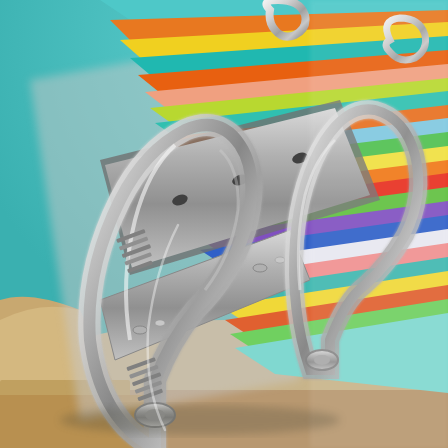[Figure (photo): Close-up photograph of an open three-ring binder with two large silver metal rings visible in the foreground. The binder contains many colorful sheets of paper with visible edges showing stripes of teal/cyan, orange, yellow, green, red, purple, and white colors. The binder spine and mechanism are silver/chrome metal. A tan/beige cardboard box or folder is visible at the bottom left. The background shows a turquoise/teal surface at the top. The image is taken at an angle showing the binder from the side, with shallow depth of field.]